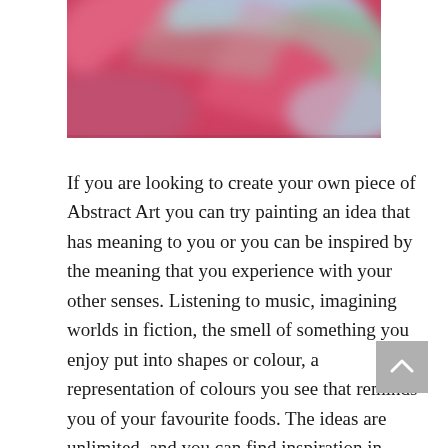[Figure (photo): A blurred/abstract colorful painting or artwork featuring reds, pinks, greens, and blues — partially visible at the top of the page.]
If you are looking to create your own piece of Abstract Art you can try painting an idea that has meaning to you or you can be inspired by the meaning that you experience with your other senses. Listening to music, imagining worlds in fiction, the smell of something you enjoy put into shapes or colour, a representation of colours you see that reminds you of your favourite foods. The ideas are unlimited, and you can find inspiration in people an in other artist's work. If you would rather just view than